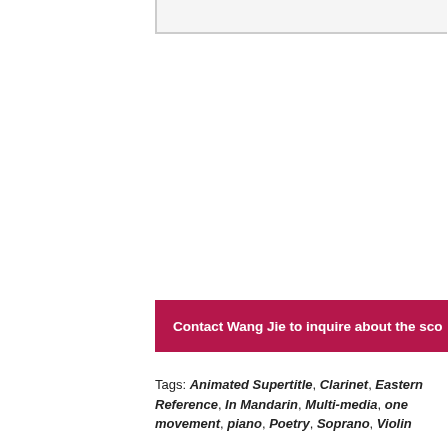Contact Wang Jie to inquire about the sco
Tags: Animated Supertitle, Clarinet, Eastern Reference, In Mandarin, Multi-media, one movement, piano, Poetry, Soprano, Violin